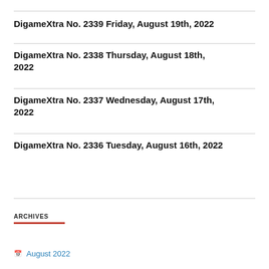DigameXtra No. 2339 Friday, August 19th, 2022
DigameXtra No. 2338 Thursday, August 18th, 2022
DigameXtra No. 2337 Wednesday, August 17th, 2022
DigameXtra No. 2336 Tuesday, August 16th, 2022
ARCHIVES
August 2022